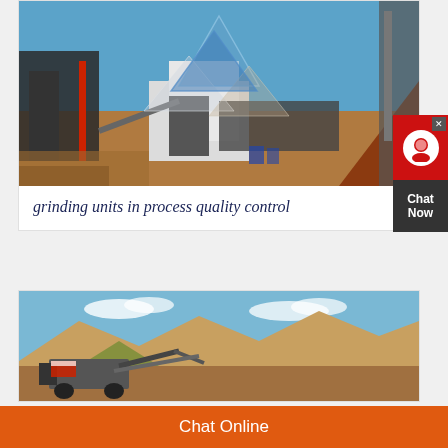[Figure (photo): Industrial grinding/mining plant facility with machinery, conveyor belts, and aggregate piles under clear blue sky. Semi-transparent triangular overlay shapes on the image.]
grinding units in process quality control
[Figure (photo): Mobile crushing/mining equipment in an open quarry with large aggregate material piles and mountains in background under blue sky.]
Chat Now
Chat Online